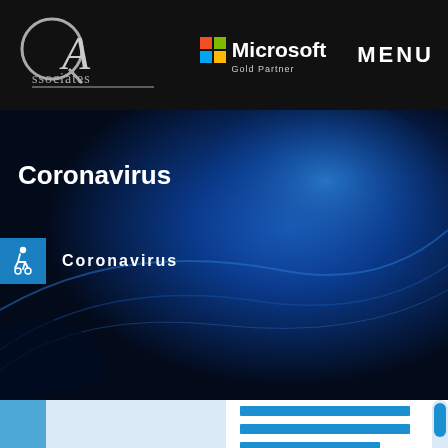[Figure (logo): QA Associates logo — white Q and A lettering with 'Associates' text on dark background]
[Figure (logo): Microsoft Gold Partner logo with four-color grid and white text]
MENU
[Figure (illustration): Dark blue abstract wave/light background banner with 'Coronavirus' title and accessibility icon with 'Coronavirus' breadcrumb label]
Coronavirus
Coronavirus
[Figure (screenshot): Bottom portion of webpage showing blue sidebar, light blue content area, and blue link bars on white background]